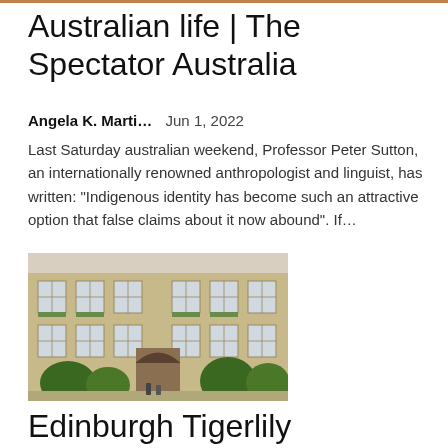Australian life | The Spectator Australia
Angela K. Marti...    Jun 1, 2022
Last Saturday australian weekend, Professor Peter Sutton, an internationally renowned anthropologist and linguist, has written: “Indigenous identity has become such an attractive option that false claims about it now abound”. If…
[Figure (photo): Exterior of a historic stone building with multiple windows, flower boxes, and an arched entrance, with trees and people visible in the foreground.]
Edinburgh Tigerlily launches